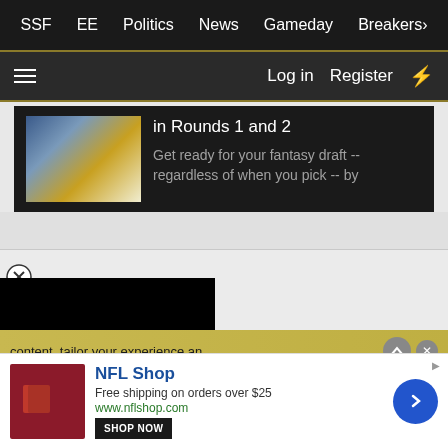SSF  EE  Politics  News  Gameday  Breakers
Log in  Register
in Rounds 1 and 2
Get ready for your fantasy draft -- regardless of when you pick -- by
[Figure (screenshot): Black video player area with close button]
content, tailor your experience an
NFL Shop
Free shipping on orders over $25
www.nflshop.com
SHOP NOW